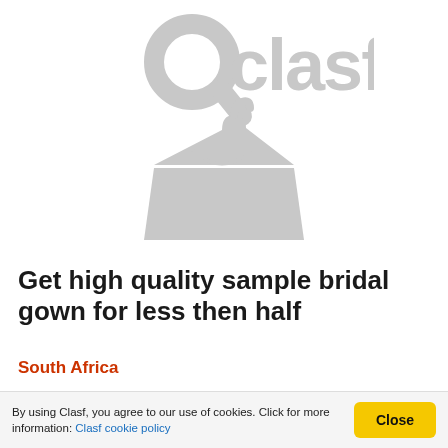[Figure (logo): Clasf logo — magnifying glass icon with word 'clasf' and a clothing hanger/bag icon below, rendered in light grey watermark style]
Get high quality sample bridal gown for less then half
South Africa
We are a sub division on Jasmin Michele Bridal Wear offering clients the opportunity to get stunning bridal gown for less then cost price, all our sample dresses are sent to
By using Clasf, you agree to our use of cookies. Click for more information: Clasf cookie policy